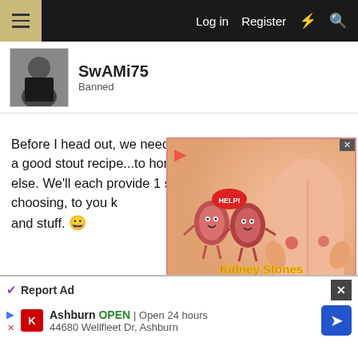Log in  Register
SwAMi75
Banned
Before I head out, we need to sit down and pull together a good stout recipe...to honor the new tap, if nothing else. We'll each provide 1 sixer of stout of our own choosing, to you k... and stuff. 😀
[Figure (screenshot): Kidney Stones symptoms advertisement overlay showing two animated kidney characters with 'HELP!' sign and a person holding their back in pain, with text 'Kidney Stones symptoms']
Mar 8, 2005
Dude
Supporting Member  HBT Supporter
Report Ad
Ashburn  OPEN  Open 24 hours  44680 Wellfleet Dr, Ashburn